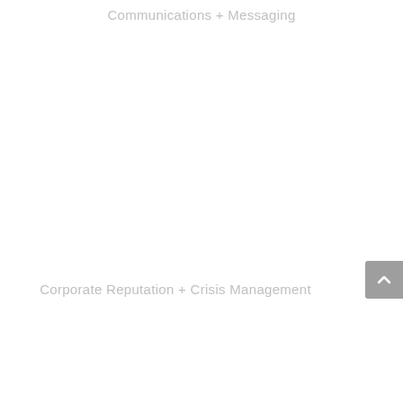Communications + Messaging
Corporate Reputation + Crisis Management